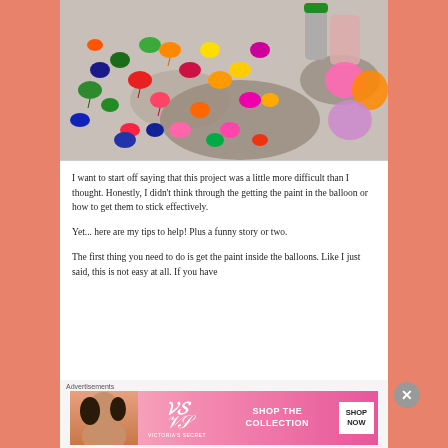[Figure (photo): Overhead photo of colorful water balloons scattered on a granite countertop alongside containers of paint]
I want to start off saying that this project was a little more difficult than I thought. Honestly, I didn't think through the getting the paint in the balloon or how to get them to stick effectively.
Yet... here are my tips to help! Plus a funny story or two.
The first thing you need to do is get the paint inside the balloons. Like I just said, this is not easy at all. If you have
Advertisements
[Figure (screenshot): Victoria's Secret advertisement banner showing model, VS logo, 'SHOP THE COLLECTION' text, and 'SHOP NOW' button]